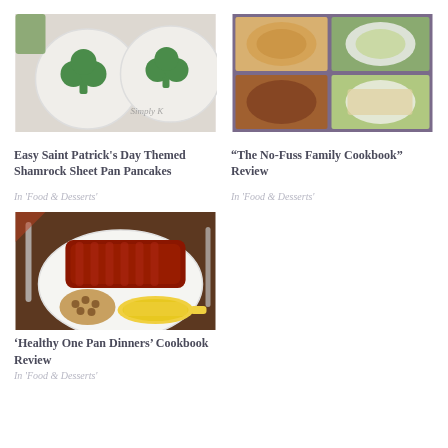[Figure (photo): Photo of shamrock-shaped pancakes on white plates with green shamrock designs, on a marble surface with a cup of greens in background]
Easy Saint Patrick's Day Themed Shamrock Sheet Pan Pancakes
In 'Food & Desserts'
[Figure (photo): Collage of various family dinner dishes in a grid layout - casseroles, salads, and other meals]
“The No-Fuss Family Cookbook” Review
In 'Food & Desserts'
[Figure (photo): Plate with BBQ ribs, baked beans, and corn on the cob]
‘Healthy One Pan Dinners’ Cookbook Review
In 'Food & Desserts'